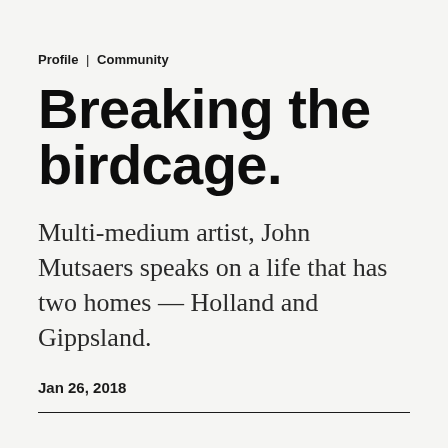Profile | Community
Breaking the birdcage.
Multi-medium artist, John Mutsaers speaks on a life that has two homes — Holland and Gippsland.
Jan 26, 2018